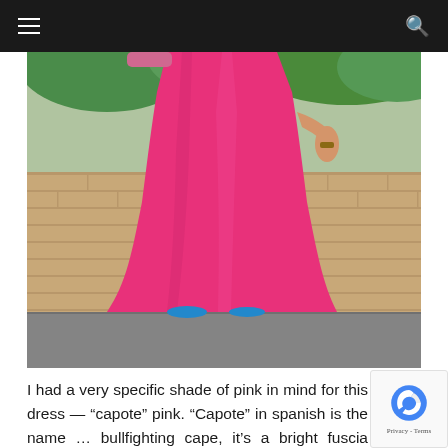Navigation header with hamburger menu and search icon
[Figure (photo): A person wearing a long bright fuchsia/hot pink maxi dress or cape, walking past a brick/stone wall with green trees visible in the background. Only the body from shoulders down is visible, and the flowing pink fabric dominates the image. Blue shoes are barely visible at the hem.]
I had a very specific shade of pink in mind for this dress — “capote” pink. “Capote” in spanish is the name … bullfighting cape, it’s a bright fuscia colour usually with yellow